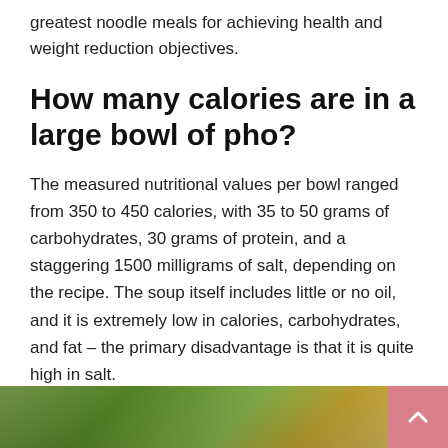greatest noodle meals for achieving health and weight reduction objectives.
How many calories are in a large bowl of pho?
The measured nutritional values per bowl ranged from 350 to 450 calories, with 35 to 50 grams of carbohydrates, 30 grams of protein, and a staggering 1500 milligrams of salt, depending on the recipe. The soup itself includes little or no oil, and it is extremely low in calories, carbohydrates, and fat – the primary disadvantage is that it is quite high in salt.
[Figure (photo): Photo of a bowl of pho with green garnishes, partially visible at the bottom of the page]